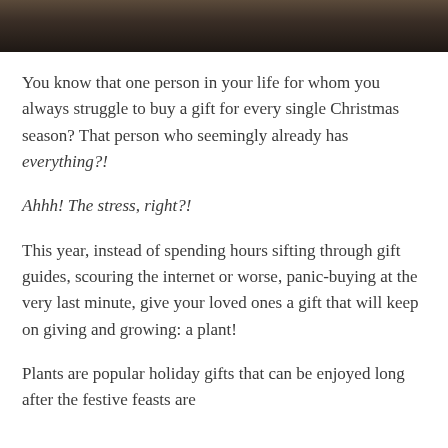[Figure (photo): Partial photo strip at top of page showing a dark background, appears to be bottom portion of a photograph of a person]
You know that one person in your life for whom you always struggle to buy a gift for every single Christmas season? That person who seemingly already has everything?!
Ahhh! The stress, right?!
This year, instead of spending hours sifting through gift guides, scouring the internet or worse, panic-buying at the very last minute, give your loved ones a gift that will keep on giving and growing: a plant!
Plants are popular holiday gifts that can be enjoyed long after the festive feasts are